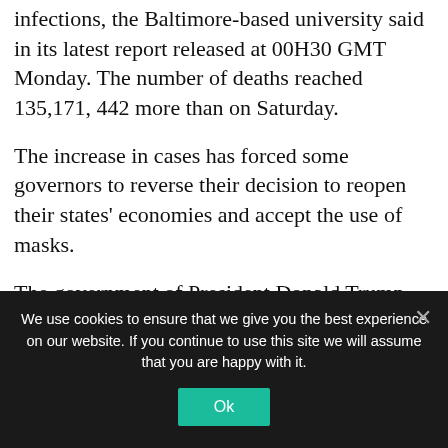infections, the Baltimore-based university said in its latest report released at 00H30 GMT Monday. The number of deaths reached 135,171, 442 more than on Saturday.
The increase in cases has forced some governors to reverse their decision to reopen their states' economies and accept the use of masks.
The government of President Donald Trump pressed again on Sunday for the full reopening of schools in the fall despite the spread of the pandemic.
We use cookies to ensure that we give you the best experience on our website. If you continue to use this site we will assume that you are happy with it.